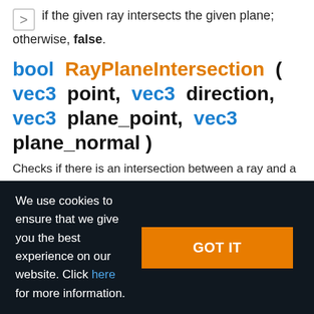if the given ray intersects the given plane; otherwise, false.
bool RayPlaneIntersection ( vec3 point, vec3 direction, vec3 plane_point, vec3 plane_normal )
Checks if there is an intersection between a ray and a
We use cookies to ensure that we give you the best experience on our website. Click here for more information.
GOT IT